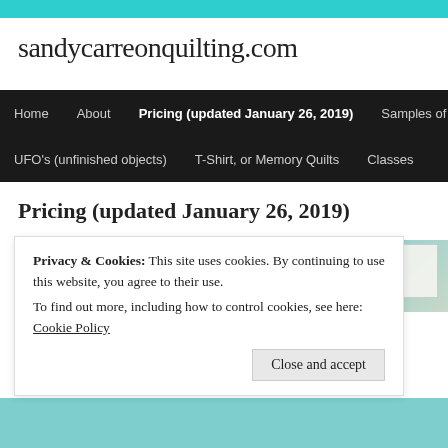sandycarreonquilting.com
Home | About | Pricing (updated January 26, 2019) | Samples of Quilti... | UFO's (unfinished objects) | T-Shirt, or Memory Quilts | Classes
Pricing (updated January 26, 2019)
[Figure (photo): Photo of a quilting workspace with teal wall background and paper/documents visible on the right side]
Privacy & Cookies: This site uses cookies. By continuing to use this website, you agree to their use.
To find out more, including how to control cookies, see here: Cookie Policy
Close and accept